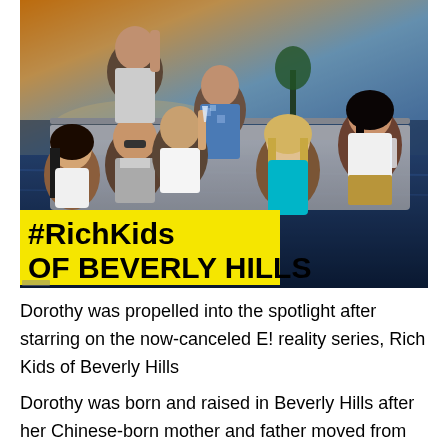[Figure (photo): Promotional photo for #RichKids OF BEVERLY HILLS showing six cast members posing on a luxury yacht against a sunset/city skyline backdrop. Yellow title card with show name overlaid at bottom left.]
Dorothy was propelled into the spotlight after starring on the now-canceled E! reality series, Rich Kids of Beverly Hills
Dorothy was born and raised in Beverly Hills after her Chinese-born mother and father moved from Taiwan to the U.S. for graduate school, according